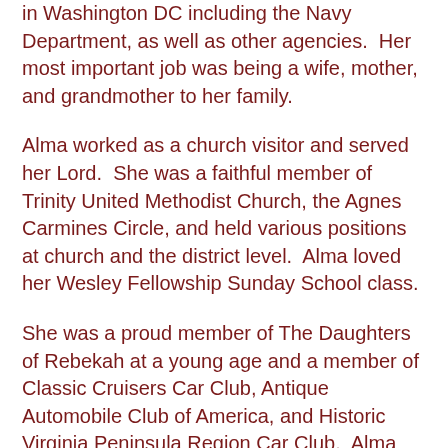in Washington DC including the Navy Department, as well as other agencies.  Her most important job was being a wife, mother, and grandmother to her family.
Alma worked as a church visitor and served her Lord.  She was a faithful member of Trinity United Methodist Church, the Agnes Carmines Circle, and held various positions at church and the district level.  Alma loved her Wesley Fellowship Sunday School class.
She was a proud member of The Daughters of Rebekah at a young age and a member of Classic Cruisers Car Club, Antique Automobile Club of America, and Historic Virginia Peninsula Region Car Club.  Alma always loved riding in the 57 Chevy Bel Air with John.